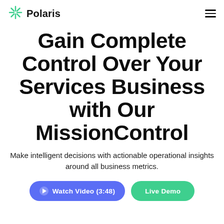Polaris
Gain Complete Control Over Your Services Business with Our MissionControl
Make intelligent decisions with actionable operational insights around all business metrics.
Watch Video (3:48)  Live Demo